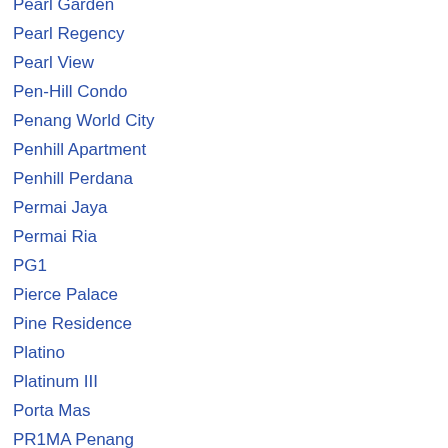Pearl Garden
Pearl Regency
Pearl View
Pen-Hill Condo
Penang World City
Penhill Apartment
Penhill Perdana
Permai Jaya
Permai Ria
PG1
Pierce Palace
Pine Residence
Platino
Platinum III
Porta Mas
PR1MA Penang
Precious Court
Prima View
Pulse Apartment